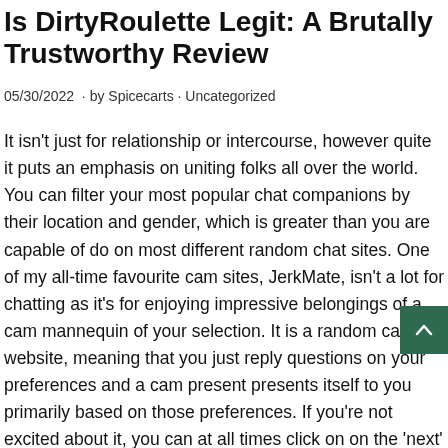Is DirtyRoulette Legit: A Brutally Trustworthy Review
05/30/2022 · by Spicecarts · Uncategorized
It isn't just for relationship or intercourse, however quite it puts an emphasis on uniting folks all over the world. You can filter your most popular chat companions by their location and gender, which is greater than you are capable of do on most different random chat sites. One of my all-time favourite cam sites, JerkMate, isn't a lot for chatting as it's for enjoying impressive belongings of a cam mannequin of your selection. It is a random cam website, meaning that you just reply questions on your preferences and a cam present presents itself to you primarily based on those preferences. If you're not excited about it, you can at all times click on on the 'next' button. Flingster VIP membership provides you with the option